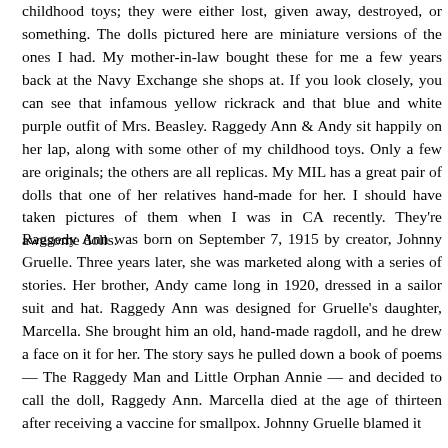childhood toys; they were either lost, given away, destroyed, or something. The dolls pictured here are miniature versions of the ones I had. My mother-in-law bought these for me a few years back at the Navy Exchange she shops at. If you look closely, you can see that infamous yellow rickrack and that blue and white purple outfit of Mrs. Beasley. Raggedy Ann & Andy sit happily on her lap, along with some other of my childhood toys. Only a few are originals; the others are all replicas. My MIL has a great pair of dolls that one of her relatives hand-made for her. I should have taken pictures of them when I was in CA recently. They're awesome dolls.
Raggedy Ann was born on September 7, 1915 by creator, Johnny Gruelle. Three years later, she was marketed along with a series of stories. Her brother, Andy came long in 1920, dressed in a sailor suit and hat. Raggedy Ann was designed for Gruelle's daughter, Marcella. She brought him an old, hand-made ragdoll, and he drew a face on it for her. The story says he pulled down a book of poems — The Raggedy Man and Little Orphan Annie — and decided to call the doll, Raggedy Ann. Marcella died at the age of thirteen after receiving a vaccine for smallpox. Johnny Gruelle blamed it